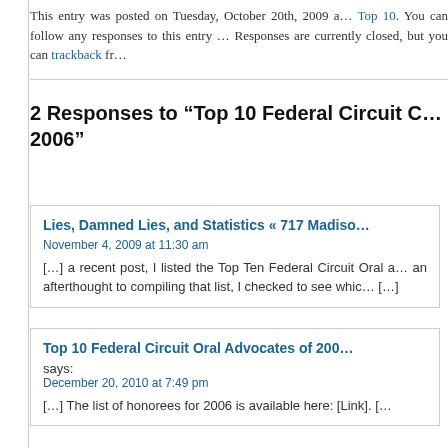This entry was posted on Tuesday, October 20th, 2009 a… Top 10. You can follow any responses to this entry … Responses are currently closed, but you can trackback fr…
2 Responses to “Top 10 Federal Circuit O… 2006”
Lies, Damned Lies, and Statistics « 717 Madiso…
November 4, 2009 at 11:30 am
[…] a recent post, I listed the Top Ten Federal Circuit Oral … an afterthought to compiling that list, I checked to see whic… […]
Top 10 Federal Circuit Oral Advocates of 200…
says:
December 20, 2010 at 7:49 pm
[…] The list of honorees for 2006 is available here: [Link]. […